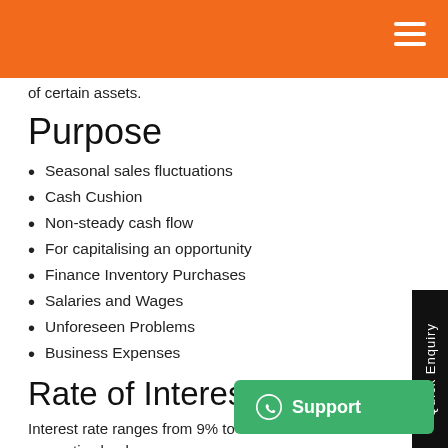of certain assets.
Purpose
Seasonal sales fluctuations
Cash Cushion
Non-steady cash flow
For capitalising an opportunity
Finance Inventory Purchases
Salaries and Wages
Unforeseen Problems
Business Expenses
Rate of Interest
Interest rate ranges from 9% to 15% as respective banks.